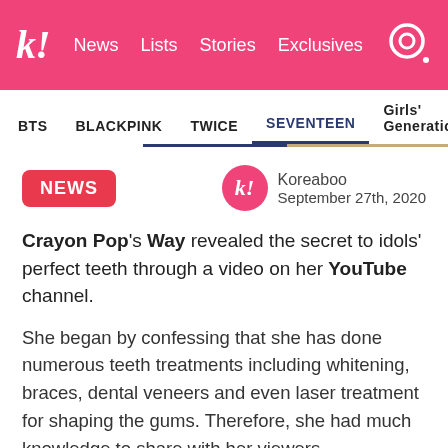k! News Lists Stories Exclusives
BTS BLACKPINK TWICE SEVENTEEN Girls' Generation
NEWS
Koreaboo September 27th, 2020
Crayon Pop's Way revealed the secret to idols' perfect teeth through a video on her YouTube channel.
She began by confessing that she has done numerous teeth treatments including whitening, braces, dental veneers and even laser treatment for shaping the gums. Therefore, she had much knowledge to share with her viewers.